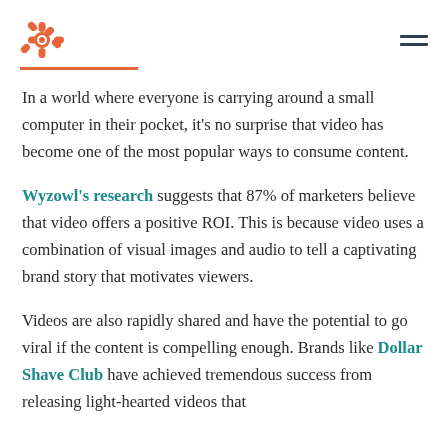HubSpot logo and navigation
In a world where everyone is carrying around a small computer in their pocket, it's no surprise that video has become one of the most popular ways to consume content.
Wyzowl's research suggests that 87% of marketers believe that video offers a positive ROI. This is because video uses a combination of visual images and audio to tell a captivating brand story that motivates viewers.
Videos are also rapidly shared and have the potential to go viral if the content is compelling enough. Brands like Dollar Shave Club have achieved tremendous success from releasing light-hearted videos that